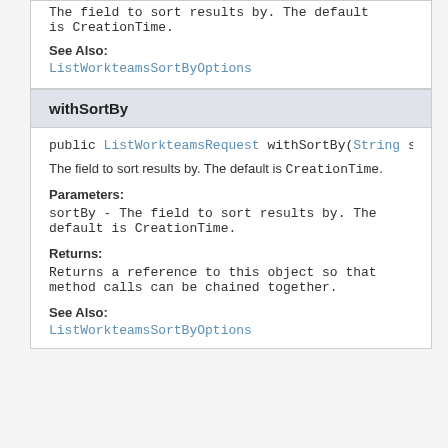The field to sort results by. The default is CreationTime.
See Also:
ListWorkteamsSortByOptions
withSortBy
public ListWorkteamsRequest withSortBy(String sor
The field to sort results by. The default is CreationTime.
Parameters:
sortBy - The field to sort results by. The default is CreationTime.
Returns:
Returns a reference to this object so that method calls can be chained together.
See Also:
ListWorkteamsSortByOptions